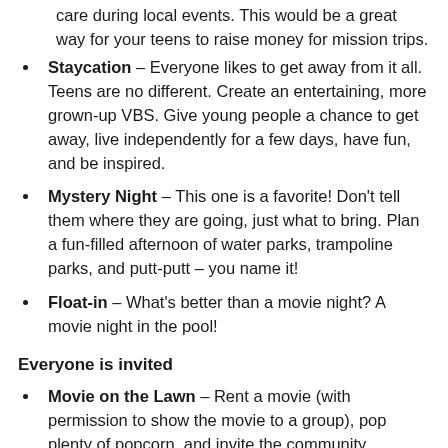care during local events. This would be a great way for your teens to raise money for mission trips.
Staycation – Everyone likes to get away from it all. Teens are no different. Create an entertaining, more grown-up VBS. Give young people a chance to get away, live independently for a few days, have fun, and be inspired.
Mystery Night – This one is a favorite! Don't tell them where they are going, just what to bring. Plan a fun-filled afternoon of water parks, trampoline parks, and putt-putt – you name it!
Float-in – What's better than a movie night? A movie night in the pool!
Everyone is invited
Movie on the Lawn – Rent a movie (with permission to show the movie to a group), pop plenty of popcorn, and invite the community.